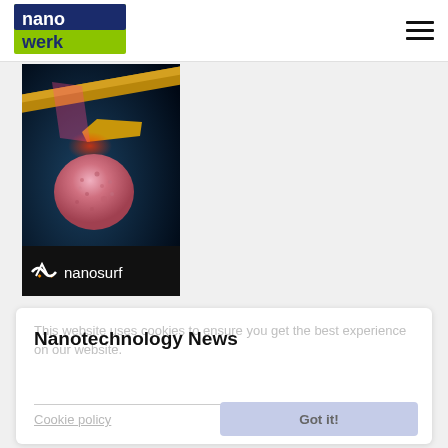nanowerk (logo) | hamburger menu
[Figure (photo): Scientific instrument (AFM/STM probe tip) with a pink glowing sphere and red laser beam on dark blue background, with Nanosurf logo and text at the bottom]
Nanotechnology News
This website uses cookies to ensure you get the best experience on our website.
Cookie policy
Building blocks of the future for photovoltaics
Aug 19, 2022
Got it!